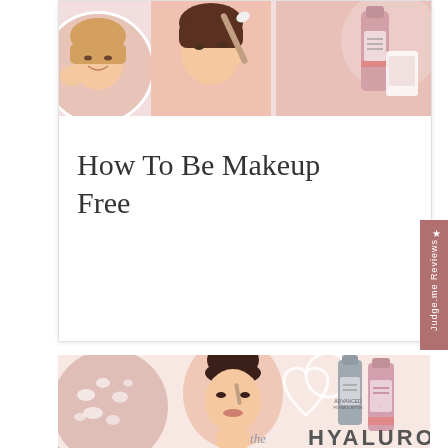[Figure (infographic): Top card with makeup-free perfection blog post preview. Shows women photos and skincare products in banner, with handwritten 'let's talk' script and bold 'MAKEUP-FREE PERFECTION' headline text.]
How To Be Makeup Free
[Figure (infographic): Bottom card showing hyaluronic skincare products with woman applying eye makeup, circle of serum droplets, and heart-shaped product grouping. Text starting 'HYALURONIC' visible at bottom.]